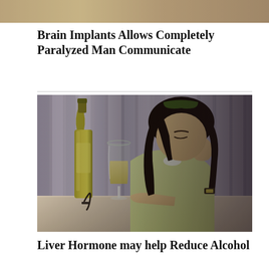[Figure (photo): Partial top strip of a photo, cropped at the top of the page.]
Brain Implants Allows Completely Paralyzed Man Communicate
[Figure (photo): A woman with dark hair wearing a yellow shirt sits at a table looking distressed, with a wine bottle, a glass of white wine, and a corkscrew in front of her. She has her hand on her forehead and appears to have been drinking.]
Liver Hormone may help Reduce Alcohol